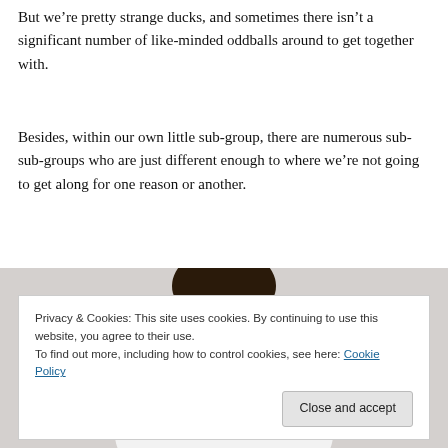But we're pretty strange ducks, and sometimes there isn't a significant number of like-minded oddballs around to get together with.
Besides, within our own little sub-group, there are numerous sub-sub-groups who are just different enough to where we're not going to get along for one reason or another.
[Figure (photo): Partial view of a person from behind wearing a white t-shirt, with dark hair visible at the top]
Privacy & Cookies: This site uses cookies. By continuing to use this website, you agree to their use.
To find out more, including how to control cookies, see here: Cookie Policy